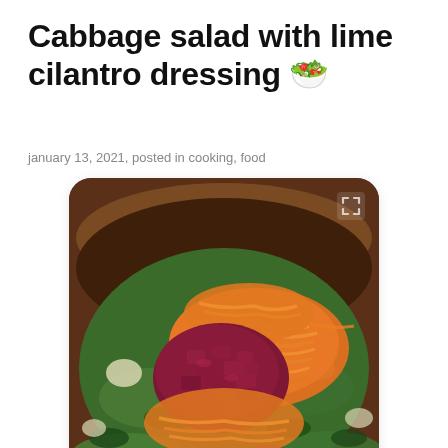Cabbage salad with lime cilantro dressing 🥗
january 13, 2021, posted in cooking, food
[Figure (photo): Overhead close-up photo of a colorful cabbage salad in a large bowl, showing shredded orange carrots piled in the center-right, chopped dark red/purple beets or red cabbage piled in the center, with green cabbage and herbs visible around the edges. A small expand/fullscreen icon appears in the upper right corner of the image. The image has rounded corners.]